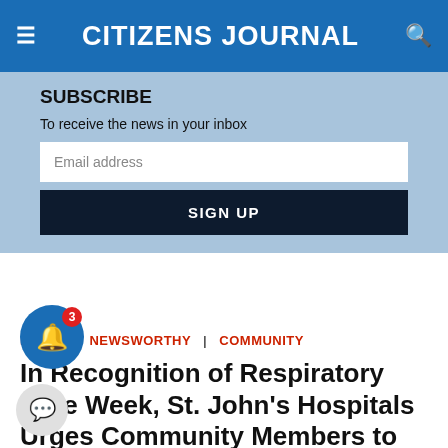CITIZENS JOURNAL
SUBSCRIBE
To receive the news in your inbox
Email address
SIGN UP
HOME | NEWSWORTHY | COMMUNITY
In Recognition of Respiratory Care Week, St. John's Hospitals Urges Community Members to Understand